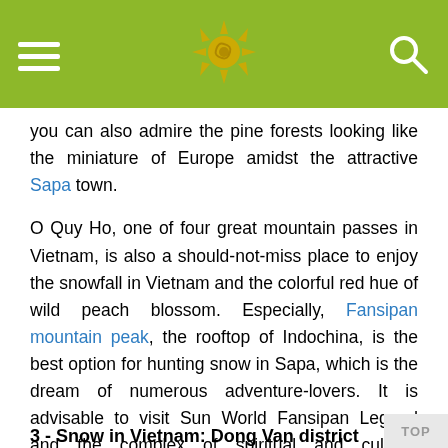[Figure (other): Website header bar with olive/yellow-green background showing hamburger menu icon on left, sun logo in center, and search (magnifier) icon on right]
you can also admire the pine forests looking like the miniature of Europe amidst the attractive Sapa town.
O Quy Ho, one of four great mountain passes in Vietnam, is also a should-not-miss place to enjoy the snowfall in Vietnam and the colorful red hue of wild peach blossom. Especially, Fansipan mountain peak, the rooftop of Indochina, is the best option for hunting snow in Sapa, which is the dream of numerous adventure-lovers. It is advisable to visit Sun World Fansipan Legend and the complex of spiritual and cultural architectural works at the summit of Fansipan, which promises to give you unforgettable moments in this extremely special place.
3 - Snow in Vietnam: Dong Van district